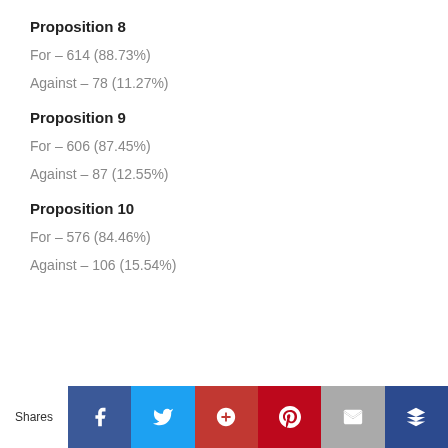Proposition 8
For – 614 (88.73%)
Against – 78 (11.27%)
Proposition 9
For – 606 (87.45%)
Against – 87 (12.55%)
Proposition 10
For – 576 (84.46%)
Against – 106 (15.54%)
Shares